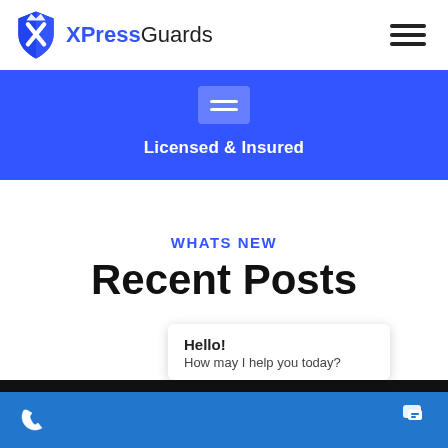XPressGuards
[Figure (infographic): Blue banner with hamburger menu icon and text 'Licensed & Insured']
WHATS NEW
Recent Posts
Hello! How may I help you today?